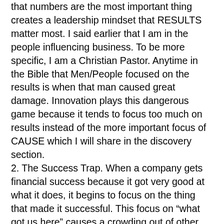that numbers are the most important thing creates a leadership mindset that RESULTS matter most. I said earlier that I am in the people influencing business. To be more specific, I am a Christian Pastor. Anytime in the Bible that Men/People focused on the results is when that man caused great damage. Innovation plays this dangerous game because it tends to focus too much on results instead of the more important focus of CAUSE which I will share in the discovery section.
2. The Success Trap. When a company gets financial success because it got very good at what it does, it begins to focus on the thing that made it successful. This focus on “what got us here” causes a crowding out of other options and points of view. This might bring immediate further success, but in our culture of fast change, it is only a matter of time before the innovative company gets trapped in the one thing they do so well. Getting trapped also means narrowly focusing on that one thing usually ending in all the eggs getting put in one basket. This causes success fragility. This usually happens to very large successful companies and their death is a